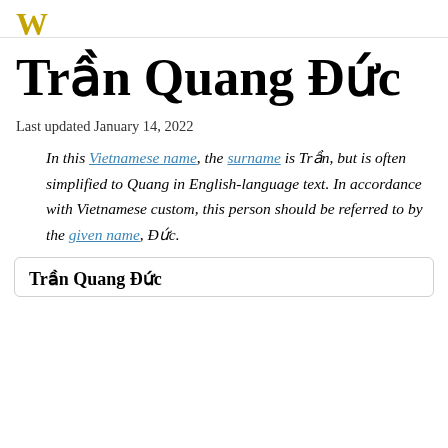W
Trần Quang Đức
Last updated January 14, 2022
In this Vietnamese name, the surname is Trần, but is often simplified to Quang in English-language text. In accordance with Vietnamese custom, this person should be referred to by the given name, Đức.
Trần Quang Đức